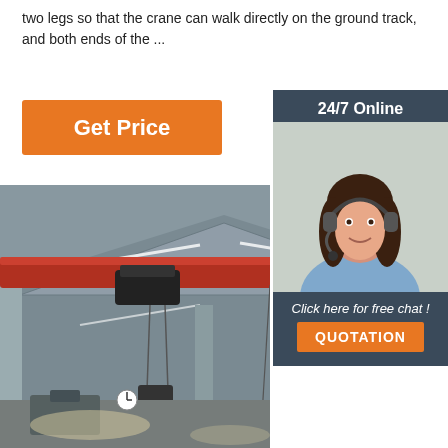two legs so that the crane can walk directly on the ground track, and both ends of the ...
[Figure (other): Orange 'Get Price' button]
[Figure (other): 24/7 Online customer support widget with photo of woman with headset, 'Click here for free chat!' text and orange QUOTATION button]
[Figure (photo): Interior of industrial warehouse showing overhead bridge crane with red girder and hoist, hanging cables, fluorescent lighting, concrete columns and large windows]